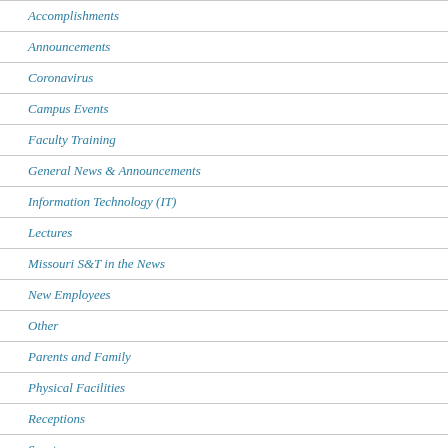Accomplishments
Announcements
Coronavirus
Campus Events
Faculty Training
General News & Announcements
Information Technology (IT)
Lectures
Missouri S&T in the News
New Employees
Other
Parents and Family
Physical Facilities
Receptions
Sports
Staff Spotlight